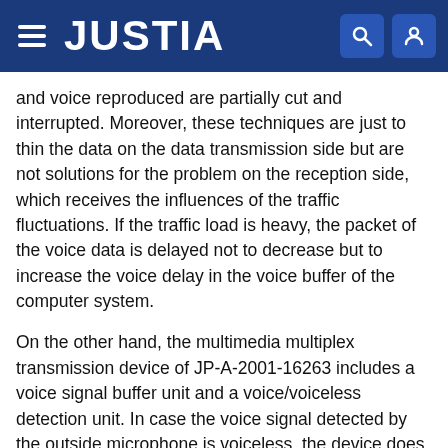JUSTIA
and voice reproduced are partially cut and interrupted. Moreover, these techniques are just to thin the data on the data transmission side but are not solutions for the problem on the reception side, which receives the influences of the traffic fluctuations. If the traffic load is heavy, the packet of the voice data is delayed not to decrease but to increase the voice delay in the voice buffer of the computer system.
On the other hand, the multimedia multiplex transmission device of JP-A-2001-16263 includes a voice signal buffer unit and a voice/voiceless detection unit. In case the voice signal detected by the outside microphone is voiceless, the device does not cut the voice but inhibits the data write so that the device can create the multiplex signal efficiently. In case the voice signal of the external microphone is a voiceless sound,